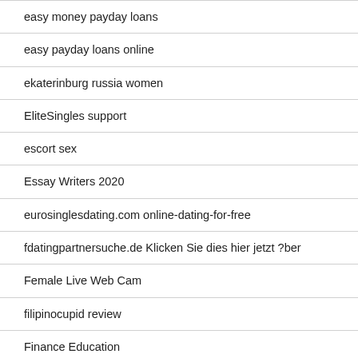easy money payday loans
easy payday loans online
ekaterinburg russia women
EliteSingles support
escort sex
Essay Writers 2020
eurosinglesdating.com online-dating-for-free
fdatingpartnersuche.de Klicken Sie dies hier jetzt ?ber
Female Live Web Cam
filipinocupid review
Finance Education